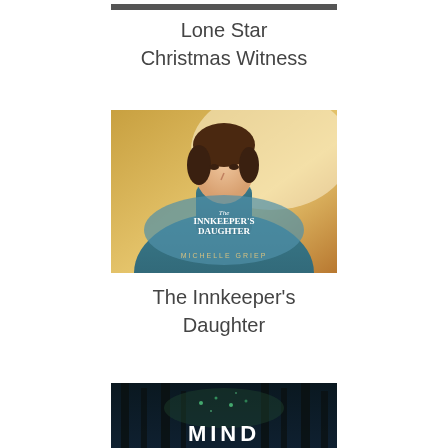[Figure (photo): Top portion of a book cover, cropped — only the upper part visible at top of page]
Lone Star Christmas Witness
[Figure (photo): Book cover for 'The Innkeeper's Daughter' by Michelle Griep, showing a young woman in historical dress looking upward, with golden background]
The Innkeeper's Daughter
[Figure (photo): Bottom portion of a book cover showing dark forest scene with the word 'MIND' visible at the bottom, partially cropped]